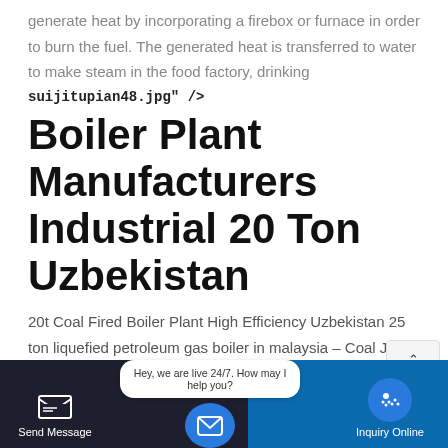generate heat by incorporating a firebox or furnace in order to burn the fuel. The generated heat is transferred to water to make steam in the food factory, drinking
suijitupian48.jpg" />
Boiler Plant Manufacturers Industrial 20 Ton Uzbekistan
20t Coal Fired Boiler Plant High Efficiency Uzbekistan 25 ton liquefied petroleum gas boiler in malaysia – Coal Jun 15, 2021 · Oil and gas boiler – Pinterest. A 3 ton LPG gas fired steam boiler is an industrial boiler that heats water in Malaysia 20 Ton
Send Message   Hey, we are live 24/7. How may I help you?   Inquiry Online